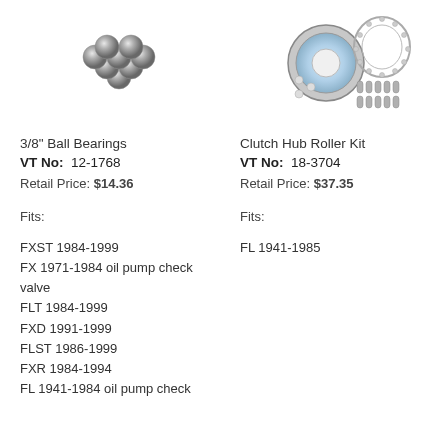[Figure (illustration): 3/8 inch ball bearings — multiple small metallic spheres clustered together]
[Figure (illustration): Clutch Hub Roller Kit — ring/seal component, perforated retainer ring, and small rollers/pins laid out]
3/8" Ball Bearings
VT No: 12-1768
Retail Price: $14.36
Fits:
FXST 1984-1999
FX 1971-1984 oil pump check valve
FLT 1984-1999
FXD 1991-1999
FLST 1986-1999
FXR 1984-1994
FL 1941-1984 oil pump check
Clutch Hub Roller Kit
VT No: 18-3704
Retail Price: $37.35
Fits:
FL 1941-1985